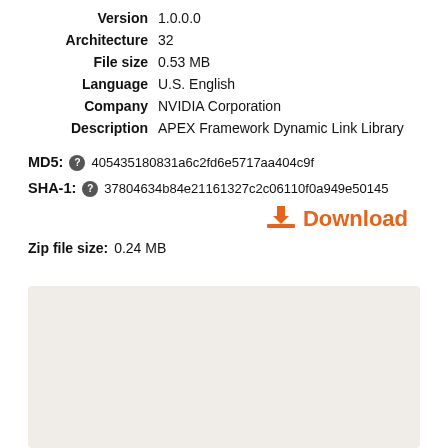Version  1.0.0.0
Architecture  32
File size  0.53 MB
Language  U.S. English
Company  NVIDIA Corporation
Description  APEX Framework Dynamic Link Library
MD5:  405435180831a6c2fd6e5717aa404c9f
SHA-1:  37804634b84e21161327c2c06110f0a949e50145
Download
Zip file size:  0.24 MB
[Figure (other): Gray/beige placeholder box at bottom of page]